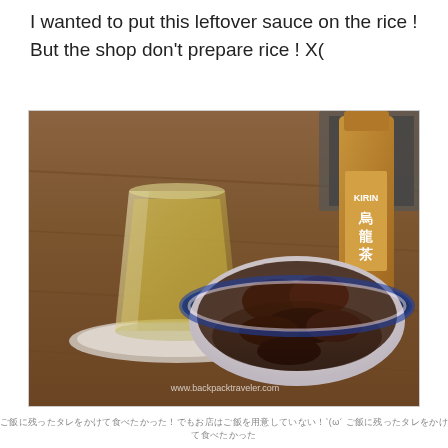I wanted to put this leftover sauce on the rice ! But the shop don't prepare rice ! X(
[Figure (photo): A glass of oolong tea on a saucer next to a blue-and-white bowl filled with braised meat in dark sauce, with a Kirin Oolong tea bottle in the background, all on a wooden table. Watermark: www.backpacktraveler.com]
Japanese text caption below the photo